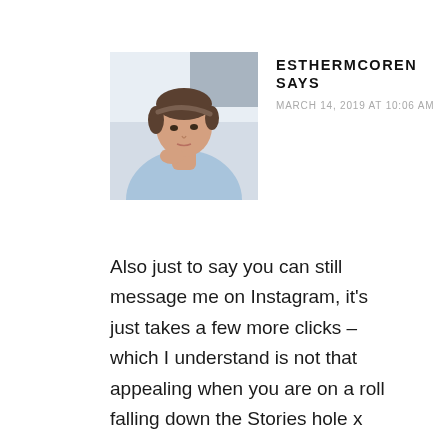[Figure (photo): Profile photo of a woman with light skin and dark hair pulled back, wearing a light blue shirt, resting her chin on her hand, looking thoughtfully to the side. Indoor background.]
ESTHERMCOREN SAYS
MARCH 14, 2019 AT 10:06 AM
Also just to say you can still message me on Instagram, it's just takes a few more clicks – which I understand is not that appealing when you are on a roll falling down the Stories hole x
Reply